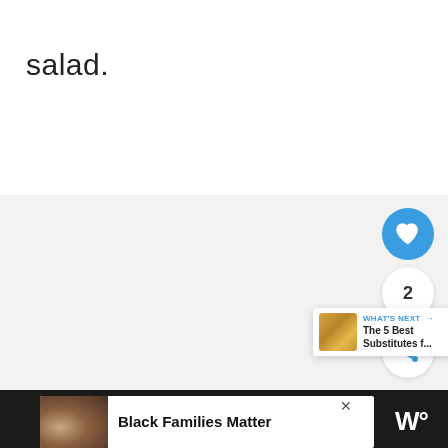salad.
[Figure (screenshot): Light gray content area with social interaction buttons: a blue heart/like button, a count badge showing '2', and a white share button with share icon]
[Figure (infographic): What's Next card showing a thumbnail of food and text 'WHAT'S NEXT → The 5 Best Substitutes f...']
[Figure (screenshot): Dark footer bar with white advertisement banner showing family photo, bold text 'Black Families Matter', and Tasty W logo]